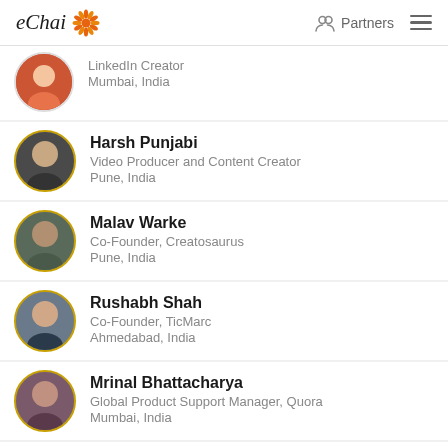eChai | Partners
LinkedIn Creator | Mumbai, India
Harsh Punjabi | Video Producer and Content Creator | Pune, India
Malav Warke | Co-Founder, Creatosaurus | Pune, India
Rushabh Shah | Co-Founder, TicMarc | Ahmedabad, India
Mrinal Bhattacharya | Global Product Support Manager, Quora | Mumbai, India
Soumita Basu | Founder & CEO, Zyenika Inclusive Fashion | Kolkata, India